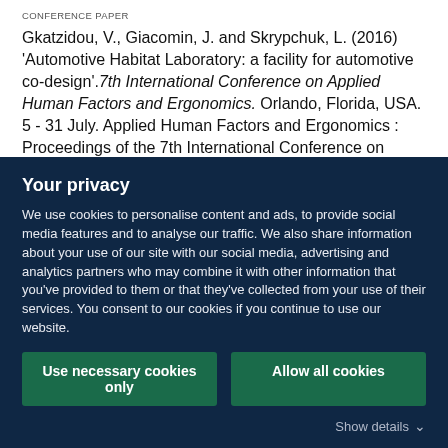CONFERENCE PAPER
Gkatzidou, V., Giacomin, J. and Skrypchuk, L. (2016) 'Automotive Habitat Laboratory: a facility for automotive co-design'.7th International Conference on Applied Human Factors and Ergonomics. Orlando, Florida, USA. 5 - 31 July. Applied Human Factors and Ergonomics : Proceedings of the 7th International Conference on Applied Human Factors and Ergonomics (AHFE 2016) and the Affiliated Conferences. Open Access Link
CONFERENCE PAPER
Your privacy
We use cookies to personalise content and ads, to provide social media features and to analyse our traffic. We also share information about your use of our site with our social media, advertising and analytics partners who may combine it with other information that you've provided to them or that they've collected from your use of their services. You consent to our cookies if you continue to use our website.
Use necessary cookies only
Allow all cookies
Show details